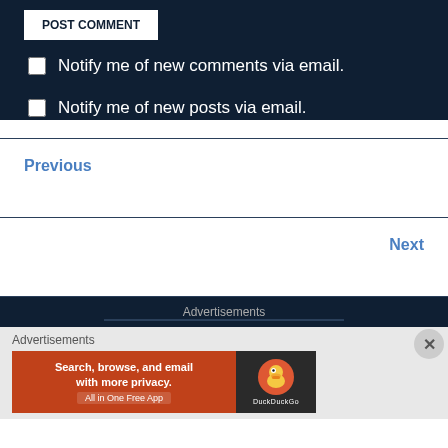[Figure (screenshot): Partial POST COMMENT button at top of page]
Notify me of new comments via email.
Notify me of new posts via email.
Previous
Review: Craig's Wife
Next
Review: Crash
Advertisements
Advertisements
[Figure (screenshot): DuckDuckGo advertisement banner: Search, browse, and email with more privacy. All in One Free App. DuckDuckGo logo on right.]